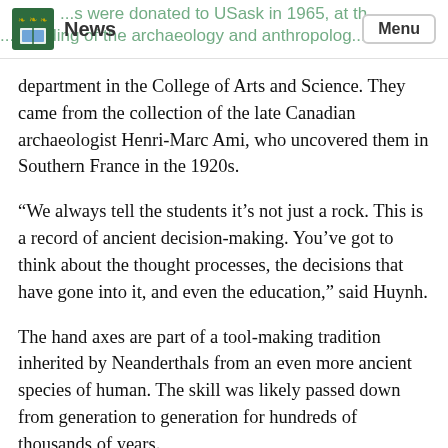News | Menu
department in the College of Arts and Science. They came from the collection of the late Canadian archaeologist Henri-Marc Ami, who uncovered them in Southern France in the 1920s.
“We always tell the students it’s not just a rock. This is a record of ancient decision-making. You’ve got to think about the thought processes, the decisions that have gone into it, and even the education,” said Huynh.
The hand axes are part of a tool-making tradition inherited by Neanderthals from an even more ancient species of human. The skill was likely passed down from generation to generation for hundreds of thousands of years.
“That’s the beauty of stone tools. They survive…